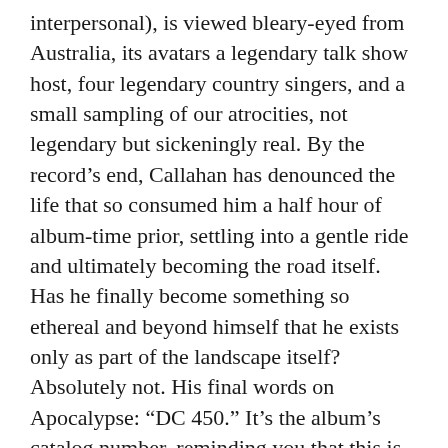interpersonal), is viewed bleary-eyed from Australia, its avatars a legendary talk show host, four legendary country singers, and a small sampling of our atrocities, not legendary but sickeningly real. By the record's end, Callahan has denounced the life that so consumed him a half hour of album-time prior, settling into a gentle ride and ultimately becoming the road itself. Has he finally become something so ethereal and beyond himself that he exists only as part of the landscape itself? Absolutely not. His final words on Apocalypse: “DC 450.” It’s the album’s catalog number, reminding you that this is an album, a finite work of art that, brilliant as it may be, simply exists. –E. NAGURNEY